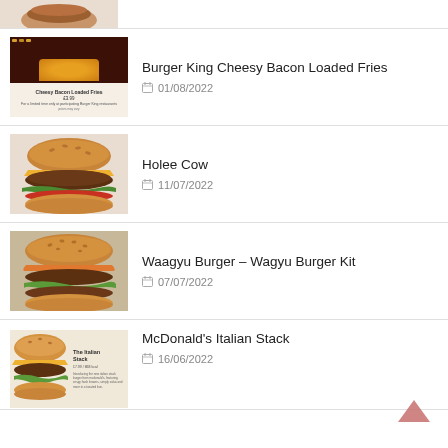(partial top item)
Burger King Cheesy Bacon Loaded Fries
01/08/2022
Holee Cow
11/07/2022
Waagyu Burger – Wagyu Burger Kit
07/07/2022
McDonald's Italian Stack
16/06/2022